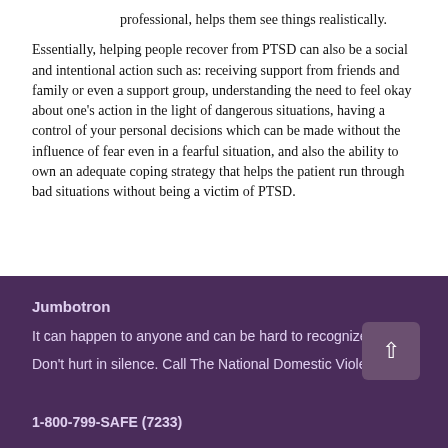professional, helps them see things realistically.
Essentially, helping people recover from PTSD can also be a social and intentional action such as: receiving support from friends and family or even a support group, understanding the need to feel okay about one's action in the light of dangerous situations, having a control of your personal decisions which can be made without the influence of fear even in a fearful situation, and also the ability to own an adequate coping strategy that helps the patient run through bad situations without being a victim of PTSD.
Jumbotron
It can happen to anyone and can be hard to recognize
Don't hurt in silence. Call The National Domestic Violence
1-800-799-SAFE (7233)